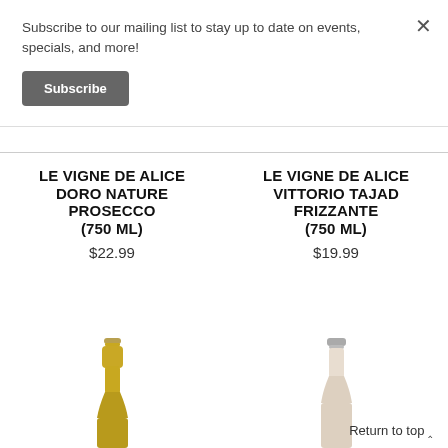Subscribe to our mailing list to stay up to date on events, specials, and more!
Subscribe
LE VIGNE DE ALICE DORO NATURE PROSECCO (750 ML)
$22.99
LE VIGNE DE ALICE VITTORIO TAJAD FRIZZANTE (750 ML)
$19.99
[Figure (photo): Top of a gold-colored Prosecco bottle neck]
[Figure (photo): Top of a light-colored Frizzante bottle neck]
Return to top ^